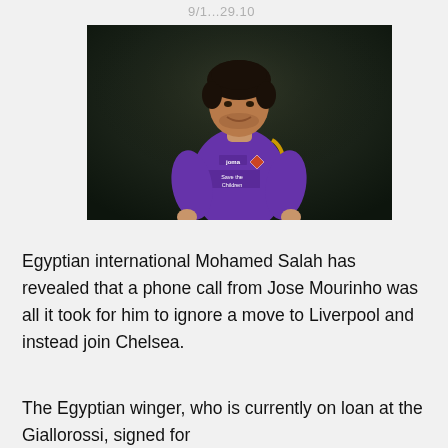9/1...29.10
[Figure (photo): Mohamed Salah wearing a purple Fiorentina jersey with Joma branding and Save the Children sponsor, smiling, photographed against a dark background]
Egyptian international Mohamed Salah has revealed that a phone call from Jose Mourinho was all it took for him to ignore a move to Liverpool and instead join Chelsea.
The Egyptian winger, who is currently on loan at the Giallorossi, signed for